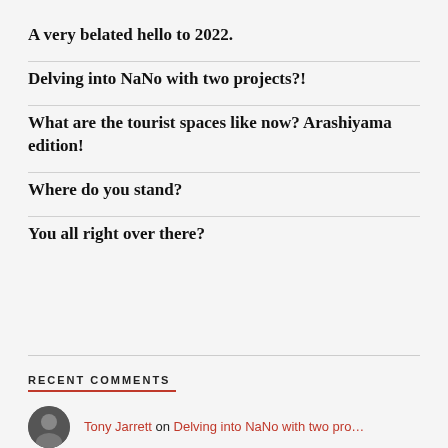A very belated hello to 2022.
Delving into NaNo with two projects?!
What are the tourist spaces like now? Arashiyama edition!
Where do you stand?
You all right over there?
RECENT COMMENTS
Tony Jarrett on Delving into NaNo with two pro…